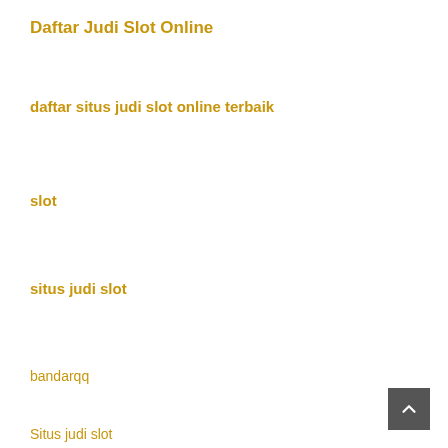Daftar Judi Slot Online
daftar situs judi slot online terbaik
slot
situs judi slot
bandarqq
Situs judi slot